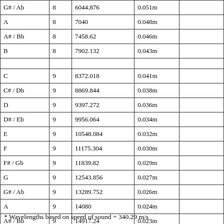| Note | Octave | Frequency (Hz) | Wavelength* |  |
| --- | --- | --- | --- | --- |
| G# / Ab | 8 | 6044.876 | 0.051m |  |
| A | 8 | 7040 | 0.048m |  |
| A# / Bb | 8 | 7458.62 | 0.046m |  |
| B | 8 | 7902.132 | 0.043m |  |
|  |  |  |  |  |
| C | 9 | 8372.018 | 0.041m |  |
| C# / Db | 9 | 8869.844 | 0.038m |  |
| D | 9 | 9397.272 | 0.036m |  |
| D# / Eb | 9 | 9956.064 | 0.034m |  |
| E | 9 | 10548.084 | 0.032m |  |
| F | 9 | 11175.304 | 0.030m |  |
| F# / Gb | 9 | 11839.82 | 0.029m |  |
| G | 9 | 12543.856 | 0.027m |  |
| G# / Ab | 9 | 13289.752 | 0.026m |  |
| A | 9 | 14080 | 0.024m |  |
| A# / Bb | 9 | 14917.24 | 0.023m |  |
| B | 9 | 15804.264 | 0.022m |  |
* Wavelengths based on speed of sound = 340.29 m/s